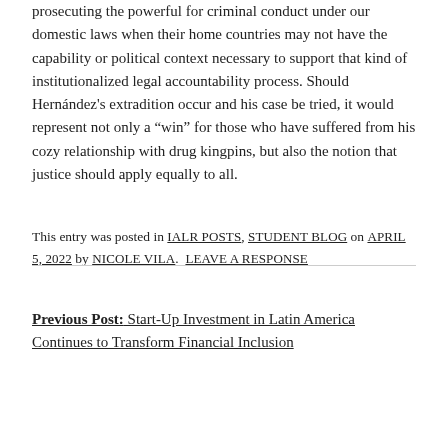prosecuting the powerful for criminal conduct under our domestic laws when their home countries may not have the capability or political context necessary to support that kind of institutionalized legal accountability process. Should Hernández's extradition occur and his case be tried, it would represent not only a “win” for those who have suffered from his cozy relationship with drug kingpins, but also the notion that justice should apply equally to all.
This entry was posted in IALR POSTS, STUDENT BLOG on APRIL 5, 2022 by NICOLE VILA. LEAVE A RESPONSE
Previous Post: Start-Up Investment in Latin America Continues to Transform Financial Inclusion